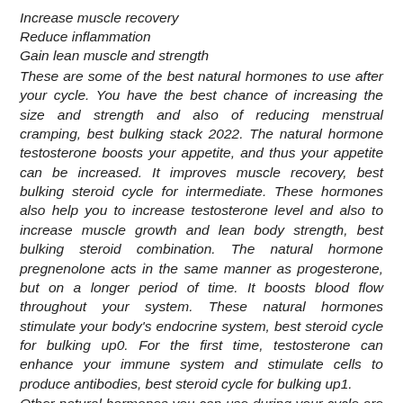Increase muscle recovery
Reduce inflammation
Gain lean muscle and strength
These are some of the best natural hormones to use after your cycle. You have the best chance of increasing the size and strength and also of reducing menstrual cramping, best bulking stack 2022. The natural hormone testosterone boosts your appetite, and thus your appetite can be increased. It improves muscle recovery, best bulking steroid cycle for intermediate. These hormones also help you to increase testosterone level and also to increase muscle growth and lean body strength, best bulking steroid combination. The natural hormone pregnenolone acts in the same manner as progesterone, but on a longer period of time. It boosts blood flow throughout your system. These natural hormones stimulate your body's endocrine system, best steroid cycle for bulking up0. For the first time, testosterone can enhance your immune system and stimulate cells to produce antibodies, best steroid cycle for bulking up1.
Other natural hormones you can use during your cycle are dutasteride, cyproterone acetate (DPA) and estradiol, best steroid cycle for bulking up2. You can use all these natural hormones with a doctor's prescription. These hormones are considered to strict for animals. They are also good to use